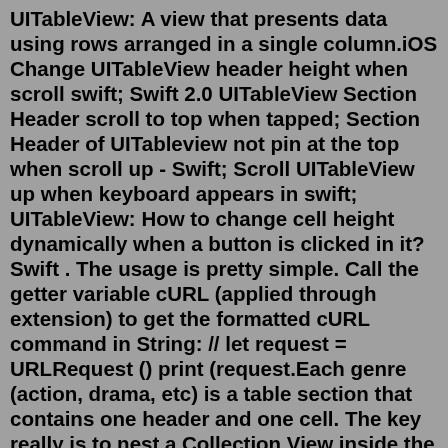UITableView: A view that presents data using rows arranged in a single column.iOS Change UITableView header height when scroll swift; Swift 2.0 UITableView Section Header scroll to top when tapped; Section Header of UITableview not pin at the top when scroll up - Swift; Scroll UITableView up when keyboard appears in swift; UITableView: How to change cell height dynamically when a button is clicked in it? Swift . The usage is pretty simple. Call the getter variable cURL (applied through extension) to get the formatted cURL command in String: // let request = URLRequest () print (request.Each genre (action, drama, etc) is a table section that contains one header and one cell. The key really is to nest a Collection View inside the Table View row. Just remember to point the Collection View DataSource to the table cell rather than the View Controller, and everything will be just fine. Set Up the Table View. 1.🔗 https://www.bigmountainstudio.comIn this video, I show you how to add a tableview header or footer using either the storyboard or through code.Here is